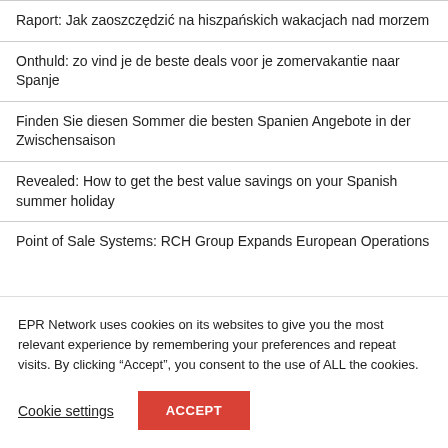Raport: Jak zaoszczędzić na hiszpańskich wakacjach nad morzem
Onthuld: zo vind je de beste deals voor je zomervakantie naar Spanje
Finden Sie diesen Sommer die besten Spanien Angebote in der Zwischensaison
Revealed: How to get the best value savings on your Spanish summer holiday
Point of Sale Systems: RCH Group Expands European Operations
EPR Network uses cookies on its websites to give you the most relevant experience by remembering your preferences and repeat visits. By clicking “Accept”, you consent to the use of ALL the cookies.
Cookie settings
ACCEPT